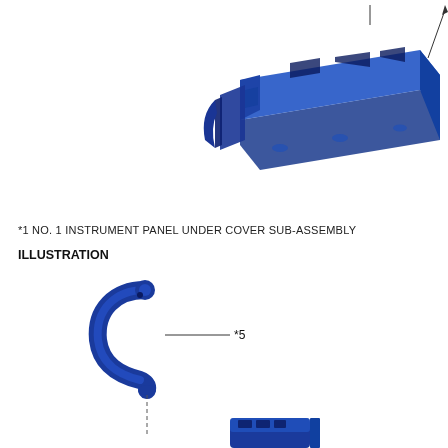[Figure (engineering-diagram): 3D rendering of instrument panel under cover sub-assembly component in blue, shown in isometric view with a callout arrow pointing to a feature at top right. The part appears to be a long flat structural component.]
*1 NO. 1 INSTRUMENT PANEL UNDER COVER SUB-ASSEMBLY
ILLUSTRATION
[Figure (engineering-diagram): Engineering illustration showing two blue 3D components: a curved grab handle or bracket labeled *5 with a dashed leader line pointing downward to a second rectangular blue component partially visible at bottom. A solid horizontal line leads to the *5 callout label.]